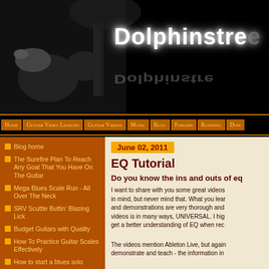[Figure (screenshot): Dolphinstreet website header banner with guitar player image on left and 'Dolphinstre' brand name in white glowing text on black background]
Dolphinstre
Home
Guitar Video Lessons
Guitar Videos
Music
Blog
Forums
Running
Dow
Blog home
The Surefire Plan To Reach Any Goal That You Have On The Guitar
Mega Blues Scale Run - All Over The Neck
SRV Scuttle Buttin' Blazing Lick
Budget Guitars with Quality
How To Practice Guitar Scales Effectively
How to start a blues solo
Top YouTube Guitar Channels
June 02, 2011
EQ Tutorial
Do you know the ins and outs of eq
I want to share with you some great videos in mind, but never mind that. What you lear and demonstrations are very thorough and videos is in many ways, UNIVERSAL. I hig get a better understanding of EQ when rec
The videos mention Ableton Live, but again demonstrate and teach - the information in